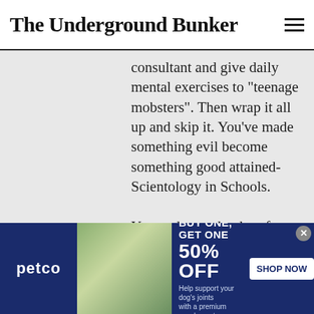The Underground Bunker
consultant and give daily mental exercises to “teenage mobsters”. Then wrap it all up and skip it. You’ve made something evil become something good attained-Scientology in Schools.

You make a calendar of coming events, one day one action. One action one news story. And string it out.

Exercise: Do a story design and
[Figure (other): Petco advertisement banner: BUY ONE, GET ONE 50% OFF with SHOP NOW button. Shows woman with dog and supplement product.]